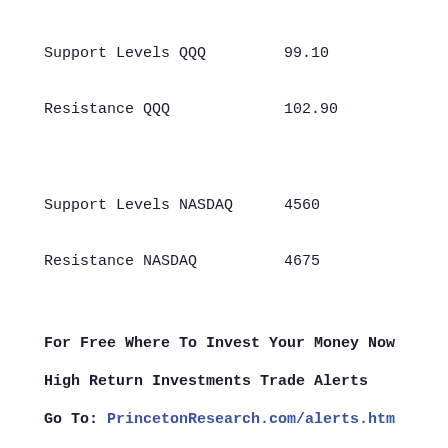Support Levels QQQ    99.10
Resistance QQQ        102.90
Support Levels NASDAQ    4560
Resistance NASDAQ        4675
For Free Where To Invest Your Money Now
High Return Investments Trade Alerts
Go To: PrincetonResearch.com/alerts.htm